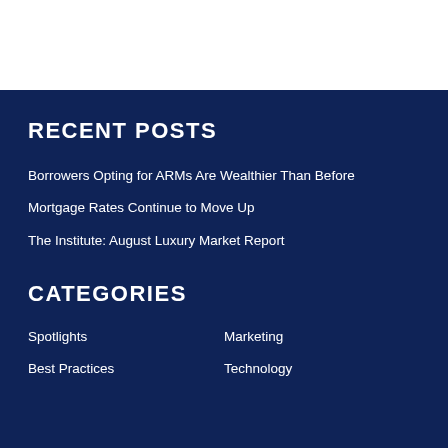RECENT POSTS
Borrowers Opting for ARMs Are Wealthier Than Before
Mortgage Rates Continue to Move Up
The Institute: August Luxury Market Report
CATEGORIES
Spotlights
Marketing
Best Practices
Technology